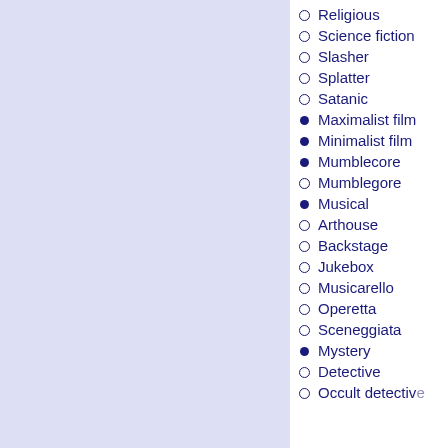Religious
Science fiction
Slasher
Splatter
Satanic
Maximalist film
Minimalist film
Mumblecore
Mumblegore
Musical
Arthouse
Backstage
Jukebox
Musicarello
Operetta
Sceneggiata
Mystery
Detective
Occult detective